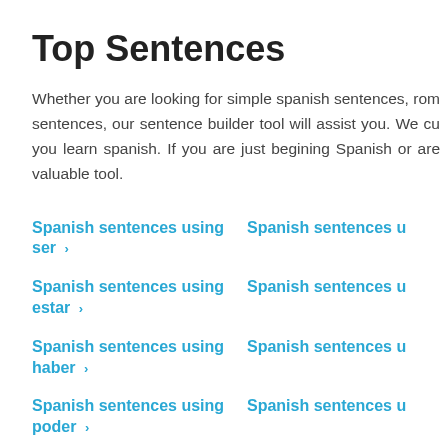Top Sentences
Whether you are looking for simple spanish sentences, rom sentences, our sentence builder tool will assist you. We cu you learn spanish. If you are just begining Spanish or are valuable tool.
Spanish sentences using ser
Spanish sentences using estar
Spanish sentences using haber
Spanish sentences using poder
Spanish sentences using dar
Spanish sentences
Spanish sentences
Spanish sentences
Spanish sentences
Spanish sentences using necesitar
Spanish sentences using gustar
Spanish sentences